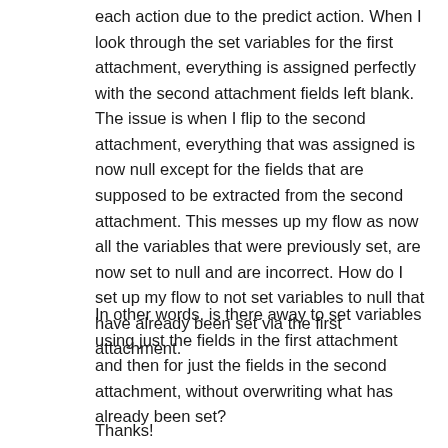each action due to the predict action. When I look through the set variables for the first attachment, everything is assigned perfectly with the second attachment fields left blank. The issue is when I flip to the second attachment, everything that was assigned is now null except for the fields that are supposed to be extracted from the second attachment. This messes up my flow as now all the variables that were previously set, are now set to null and are incorrect. How do I set up my flow to not set variables to null that have already been set via the first attachment.
In other words, is there away to set variables using just the fields in the first attachment and then for just the fields in the second attachment, without overwriting what has already been set?
Thanks!